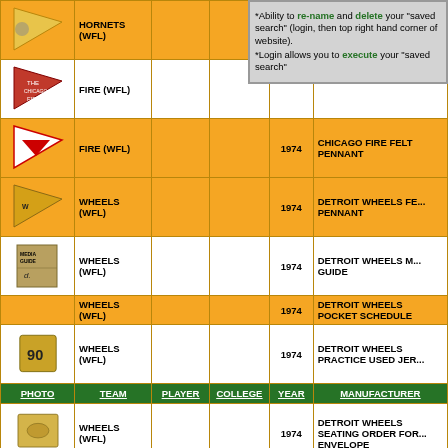| PHOTO | TEAM | PLAYER | COLLEGE | YEAR | MANUFACTURER |
| --- | --- | --- | --- | --- | --- |
| [pennant img] | HORNETS (WFL) |  |  |  |  |
| [pennant img] | FIRE (WFL) |  |  |  |  |
| [pennant img] | FIRE (WFL) |  |  | 1974 | CHICAGO FIRE FELT PENNANT |
| [pennant img] | WHEELS (WFL) |  |  | 1974 | DETROIT WHEELS FE... PENNANT |
| [media guide img] | WHEELS (WFL) |  |  | 1974 | DETROIT WHEELS M... GUIDE |
|  | WHEELS (WFL) |  |  | 1974 | DETROIT WHEELS POCKET SCHEDULE |
| [jersey img] | WHEELS (WFL) |  |  | 1974 | DETROIT WHEELS PRACTICE USED JER... |
| PHOTO | TEAM | PLAYER | COLLEGE | YEAR | MANUFACTURER |
| [envelope img] | WHEELS (WFL) |  |  | 1974 | DETROIT WHEELS SEATING ORDER FOR... ENVELOPE |
*Ability to re-name and delete your "saved search" (login, then top right hand corner of website).
*Login allows you to execute your "saved search"